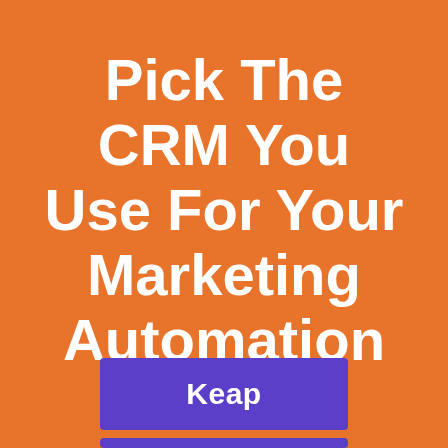Pick The CRM You Use For Your Marketing Automation
Keap